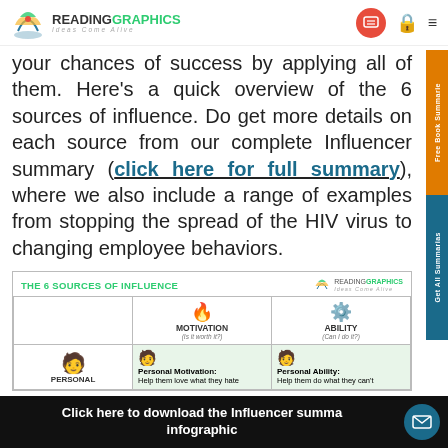READINGRAPHICS — Ideas Come Alive
your chances of success by applying all of them. Here’s a quick overview of the 6 sources of influence. Do get more details on each source from our complete Influencer summary (click here for full summary), where we also include a range of examples from stopping the spread of the HIV virus to changing employee behaviors.
[Figure (infographic): The 6 Sources of Influence infographic table showing Motivation and Ability columns, with Personal row showing Personal Motivation: Help them love what they hate, and Personal Ability: Help them do what they can’t]
Click here to download the Influencer summary infographic